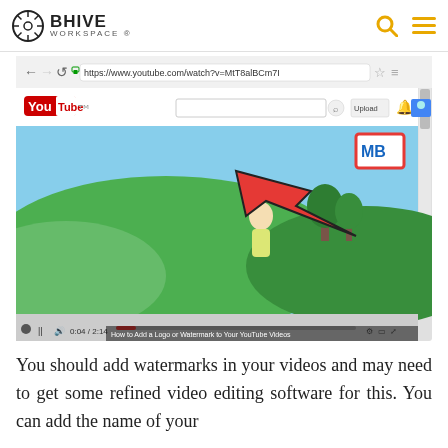BHIVE WORKSPACE
[Figure (screenshot): Screenshot of a YouTube video page showing a cartoon/animated video with a red arrow pointing to a watermark logo in the top right corner of the video. URL bar shows https://www.youtube.com/watch?v=MtT8alBCm7I. The video title bar at bottom reads 'How to Add a Logo or Watermark to Your YouTube Videos'.]
You should add watermarks in your videos and may need to get some refined video editing software for this. You can add the name of your